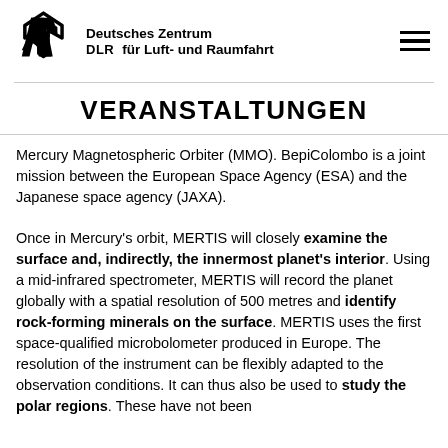[Figure (logo): DLR logo with diamond-shaped arrows and text: Deutsches Zentrum für Luft- und Raumfahrt]
VERANSTALTUNGEN
Mercury Magnetospheric Orbiter (MMO). BepiColombo is a joint mission between the European Space Agency (ESA) and the Japanese space agency (JAXA).
Once in Mercury's orbit, MERTIS will closely examine the surface and, indirectly, the innermost planet's interior. Using a mid-infrared spectrometer, MERTIS will record the planet globally with a spatial resolution of 500 metres and identify rock-forming minerals on the surface. MERTIS uses the first space-qualified microbolometer produced in Europe. The resolution of the instrument can be flexibly adapted to the observation conditions. It can thus also be used to study the polar regions. These have not been